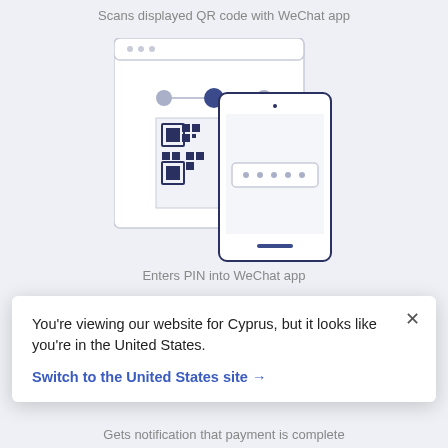Scans displayed QR code with WeChat app
[Figure (illustration): Browser window showing a QR code on screen with a smartphone overlaid on it displaying a PIN entry field with dots, and a step indicator with three dots connected by a line — middle dot filled dark]
Enters PIN into WeChat app
[Figure (illustration): Browser window partially visible showing a step indicator with three dots connected by a line — rightmost dot filled dark]
You’re viewing our website for Cyprus, but it looks like you’re in the United States.
Switch to the United States site →
Gets notification that payment is complete